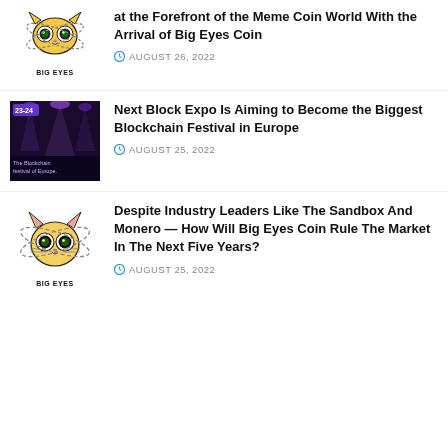[Figure (logo): Big Eyes Coin logo — cartoon cat face with large eyes and orbital rings, text BIG EYES below]
at the Forefront of the Meme Coin World With the Arrival of Big Eyes Coin
AUGUST 26, 2022
[Figure (photo): Dark image of a blockchain festival event venue with crowd, text 23-24 and The Blockchain Festival of Europe]
Next Block Expo Is Aiming to Become the Biggest Blockchain Festival in Europe
AUGUST 25, 2022
[Figure (logo): Big Eyes Coin logo — cartoon cat with large eyes and orbital rings, text BIG EYES below]
Despite Industry Leaders Like The Sandbox And Monero — How Will Big Eyes Coin Rule The Market In The Next Five Years?
AUGUST 25, 2022